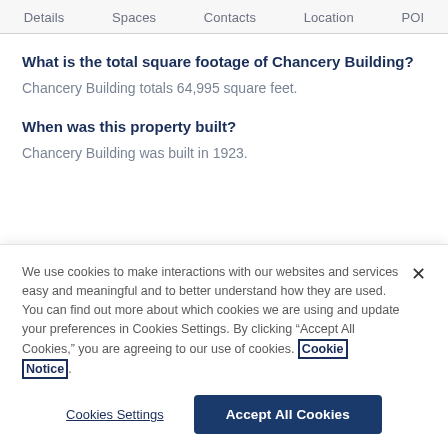Details   Spaces   Contacts   Location   POI
What is the total square footage of Chancery Building?
Chancery Building totals 64,995 square feet.
When was this property built?
Chancery Building was built in 1923.
We use cookies to make interactions with our websites and services easy and meaningful and to better understand how they are used. You can find out more about which cookies we are using and update your preferences in Cookies Settings. By clicking “Accept All Cookies,” you are agreeing to our use of cookies. Cookie Notice.
Cookies Settings   Accept All Cookies